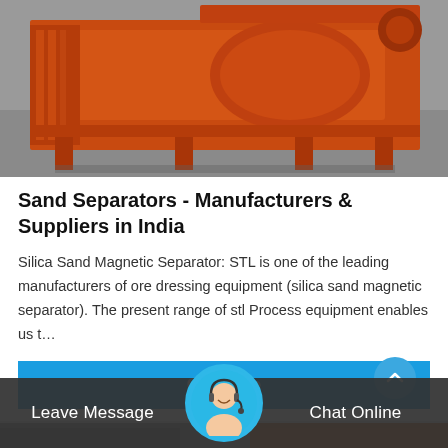[Figure (photo): Orange industrial sand separator / magnetic separator machine on a concrete floor in a factory setting]
Sand Separators - Manufacturers & Suppliers in India
Silica Sand Magnetic Separator: STL is one of the leading manufacturers of ore dressing equipment (silica sand magnetic separator). The present range of stl Process equipment enables us t…
Get Price
[Figure (photo): Partially visible second product card showing industrial machinery]
Leave Message
[Figure (photo): Customer service representative avatar in circular frame]
Chat Online